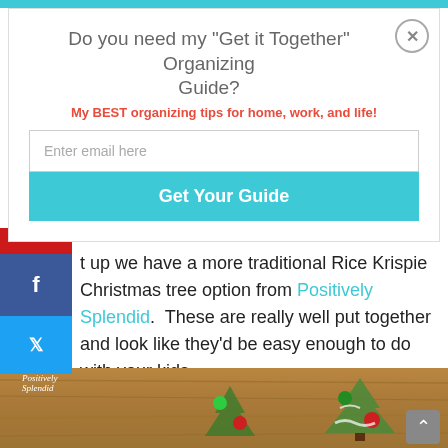Do you need my "Get it Together" Organizing Guide?
My BEST organizing tips for home, work, and life!
Enter email here
Get Your Guide
t up we have a more traditional Rice Krispie Christmas tree option from Positively Splendid.  These are really well put together and look like they'd be easy enough to do with your kids.
[Figure (photo): Photo of Rice Krispie Christmas tree treats decorated with green and red candy on a wooden surface, with Positively Splendid watermark logo]